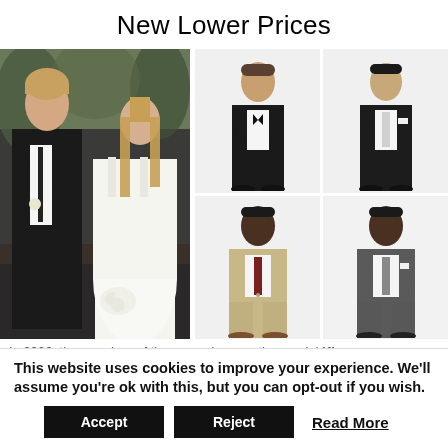New Lower Prices
[Figure (photo): Large photo of a groom in black tuxedo and bride in white dress outdoors at a wedding venue, side by side]
[Figure (photo): Man in black tuxedo with bow tie standing on white background]
[Figure (photo): Man in black suit standing on white background]
[Figure (photo): Man in beige/tan suit with dark tie standing on white background]
[Figure (photo): Man in dark grey suit standing on white background]
In 2006, the premiere of the second generation model Kia
This website uses cookies to improve your experience. We'll assume you're ok with this, but you can opt-out if you wish.
Accept   Reject   Read More